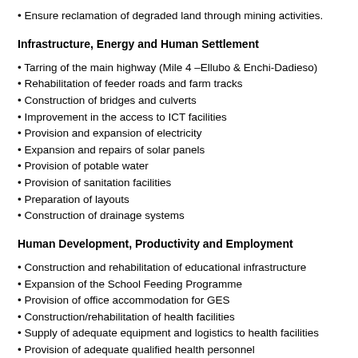Ensure reclamation of degraded land through mining activities.
Infrastructure, Energy and Human Settlement
Tarring of the main highway (Mile 4 –Ellubo & Enchi-Dadieso)
Rehabilitation of feeder roads and farm tracks
Construction of bridges and culverts
Improvement in the access to ICT facilities
Provision and expansion of electricity
Expansion and repairs of solar panels
Provision of potable water
Provision of sanitation facilities
Preparation of layouts
Construction of drainage systems
Human Development, Productivity and Employment
Construction and rehabilitation of educational infrastructure
Expansion of the School Feeding Programme
Provision of office accommodation for GES
Construction/rehabilitation of health facilities
Supply of adequate equipment and logistics to health facilities
Provision of adequate qualified health personnel
Educational programmes on HIV/AIDS
Educational programmes on population growth
Improve Death and Birth registration coverage in the Municipality
Intensify awareness on child protection and child labour